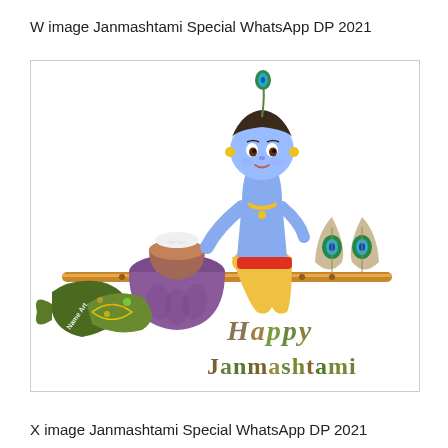W image Janmashtami Special WhatsApp DP 2021
[Figure (illustration): Cartoon illustration of baby Krishna (Lord Krishna as a child) with blue skin, wearing yellow and red clothes, a peacock feather in his hair and gold jewelry, standing next to a clay pot (matki) filled with butter/milk. A flute is shown horizontally. Peacock feathers arranged in a heart shape on the right. In the lower left, a decorative dark green/brown fish or bird shape with glowing swirl designs and 'Name Art' watermark text. In the lower right, colorful metallic text reading 'Happy Janmashtami'.]
X image Janmashtami Special WhatsApp DP 2021